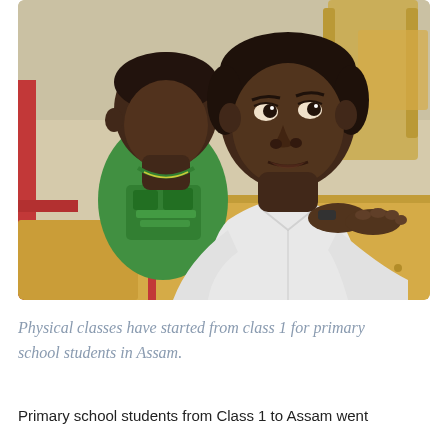[Figure (photo): Two young school boys sitting at wooden desks in a classroom. The boy in the foreground wears a white school uniform shirt and looks upward attentively. The boy behind him wears a green graphic t-shirt and looks downward. Wooden desks and red chair frames are visible in the background.]
Physical classes have started from class 1 for primary school students in Assam.
Primary school students from Class 1 to Assam went